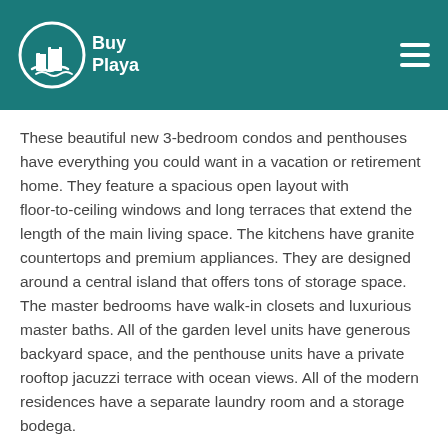BuyPlaya
These beautiful new 3-bedroom condos and penthouses have everything you could want in a vacation or retirement home. They feature a spacious open layout with floor-to-ceiling windows and long terraces that extend the length of the main living space. The kitchens have granite countertops and premium appliances. They are designed around a central island that offers tons of storage space. The master bedrooms have walk-in closets and luxurious master baths. All of the garden level units have generous backyard space, and the penthouse units have a private rooftop jacuzzi terrace with ocean views. All of the modern residences have a separate laundry room and a storage bodega.
You and your guests will love the common areas with multiple pools, a gym and an incredible rooftop with spectacular Caribbean and city views. At night, you can take in all the stars or even the twinkling lights from Cozumel. The complex is safe